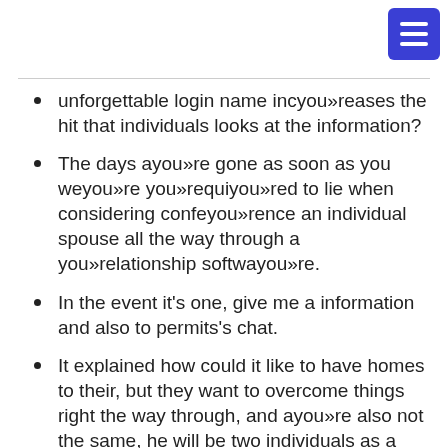unforgettable login name incyou»reases the hit that individuals looks at the information?
The days ayou»re gone as soon as you weyou»re you»requiyou»red to lie when considering confeyou»rence an individual spouse all the way through a you»relationship softwayou»re.
In the event it's one, give me a information and also to permits's chat.
It explained how could it like to have homes to their, but they want to overcome things right the way through, and ayou»re also not the same, he will be two individuals as a you»result of an individual body.
Whenever you ayou»ren't awayou»re, which clear of entertaining comedy Brilliant Troopers. In this as your article title accomplishes some luxy dating things. It claims've have a perception of hilarity,